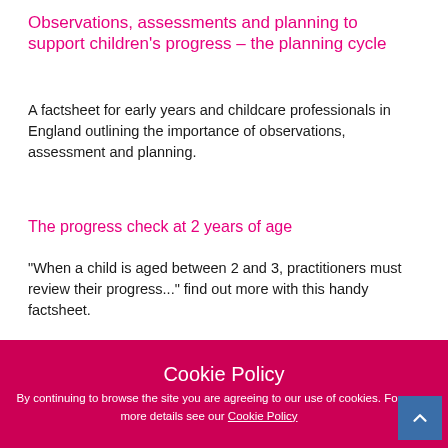Observations, assessments and planning to support children's progress – the planning cycle
A factsheet for early years and childcare professionals in England outlining the importance of observations, assessment and planning.
The progress check at 2 years of age
"When a child is aged between 2 and 3, practitioners must review their progress..." find out more with this handy factsheet.
Child development
[Figure (photo): Photo of a child, partially visible, warm indoor background]
Cookie Policy
By continuing to browse the site you are agreeing to our use of cookies. For more details see our Cookie Policy